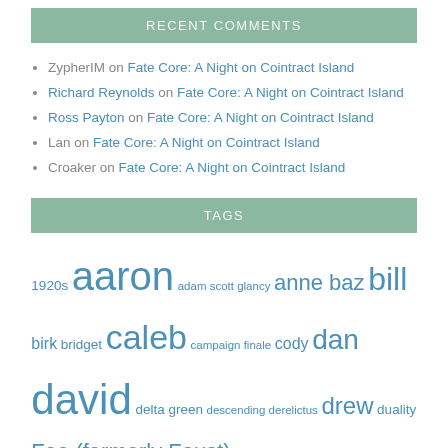RECENT COMMENTS
ZypherIM on Fate Core: A Night on Cointract Island
Richard Reynolds on Fate Core: A Night on Cointract Island
Ross Payton on Fate Core: A Night on Cointract Island
Lan on Fate Core: A Night on Cointract Island
Croaker on Fate Core: A Night on Cointract Island
TAGS
1920s aaron adam scott glancy anne baz bill birk bridget caleb campaign finale cody dan david delta green descending derelictus drew duality Fae (formerly Faust) fortunes of war gate 9 gencon greg historical jason jay b know evil maddy masks of nyarlathotep melissa